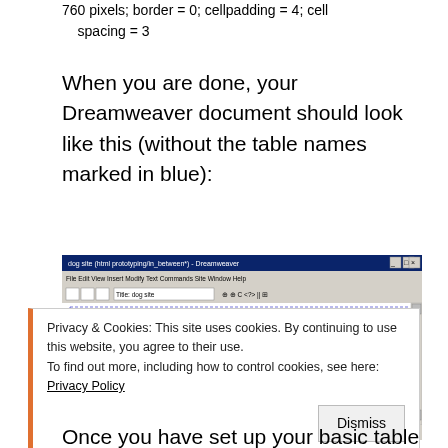760 pixels; border = 0; cellpadding = 4; cell spacing = 3
When you are done, your Dreamweaver document should look like this (without the table names marked in blue):
[Figure (screenshot): Dreamweaver application window showing a document with nested tables labeled: global area table, primary navigation table, secondary navigation table, content area table. Window title reads 'dog site (html prototyping/in_between*) - Dreamweaver'.]
Privacy & Cookies: This site uses cookies. By continuing to use this website, you agree to their use.
To find out more, including how to control cookies, see here: Privacy Policy
Once you have set up your basic table layout, you